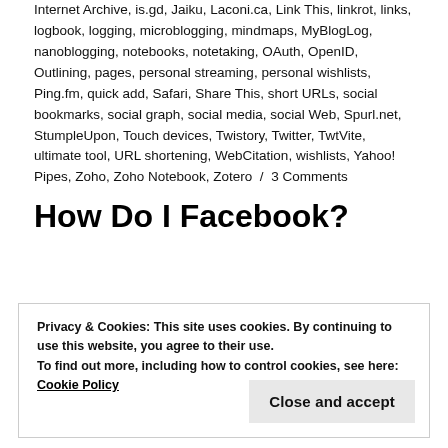Internet Archive, is.gd, Jaiku, Laconi.ca, Link This, linkrot, links, logbook, logging, microblogging, mindmaps, MyBlogLog, nanoblogging, notebooks, notetaking, OAuth, OpenID, Outlining, pages, personal streaming, personal wishlists, Ping.fm, quick add, Safari, Share This, short URLs, social bookmarks, social graph, social media, social Web, Spurl.net, StumpleUpon, Touch devices, Twistory, Twitter, TwtVite, ultimate tool, URL shortening, WebCitation, wishlists, Yahoo! Pipes, Zoho, Zoho Notebook, Zotero / 3 Comments
How Do I Facebook?
Privacy & Cookies: This site uses cookies. By continuing to use this website, you agree to their use. To find out more, including how to control cookies, see here: Cookie Policy